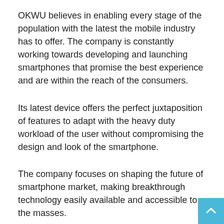OKWU believes in enabling every stage of the population with the latest the mobile industry has to offer. The company is constantly working towards developing and launching smartphones that promise the best experience and are within the reach of the consumers.
Its latest device offers the perfect juxtaposition of features to adapt with the heavy duty workload of the user without compromising the design and look of the smartphone.
The company focuses on shaping the future of smartphone market, making breakthrough technology easily available and accessible to the masses.
OKWU smartphones will be manufactured and assembled in Shenzhen, China and the company plans to have their own assembly unit in India ahead. The company is also in